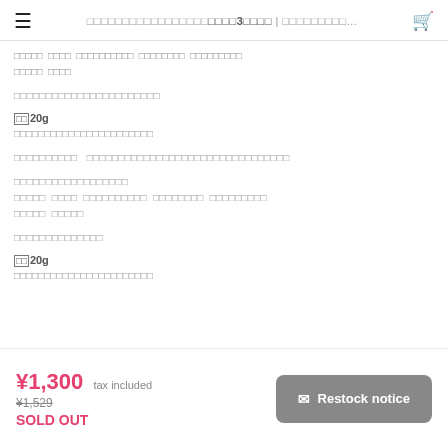≡  □□□□□□□□□□□□□□□□□□□3□□□□ | □□□□□□□□□...  🛒
□□□□□  □□□□  □□□□□□□□□□  □□□□□□□□  □□□□□□□□□
□□□□□  □□□□
□□□□□□□□□□□□□□□□□□□□□□□
□□20g
□□□□□□□□□□□□□□□□□□□□□□□
□□□□□□□□□□  □□□□□□□□□□□□□□□□□□□□□□□□□□□□□□□□
□□□□□□□□□□□□□□□□□□
□□□□□  □□□□  □□□□□□□□□□  □□□□□□□□  □□□□□□□□□
□□□□□  □□□□□
□□□□□□□□□□□□□□
□□20g
□□□□□□□□□□□□□□□□□□□□□□□
¥1,300 tax included
¥1,529
SOLD OUT
✉ Restock notice